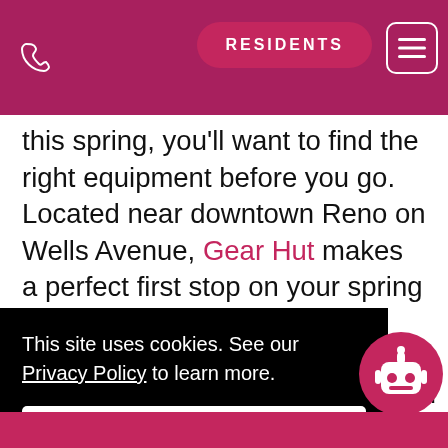RESIDENTS
this spring, you'll want to find the right equipment before you go. Located near downtown Reno on Wells Avenue, Gear Hut makes a perfect first stop on your spring shopping spree. This eco-friendly local favorite stocks second-hand outdoor gear for any activity, and if you can find what you need here, you'll get a good deal, too. Hop into Gear Hut to peruse outdoor clothing and seasonal equipment on
This site uses cookies. See our Privacy Policy to learn more.
Okay, Got it
, and